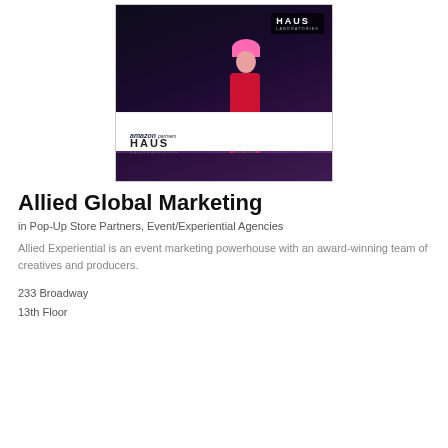[Figure (photo): A performer in a red sequined dress and pink hair posing at an Amazon/Haus Laboratories branded event booth]
Allied Global Marketing
in Pop-Up Store Partners, Event/Experiential Agencies
Allied Experiential is an event marketing powerhouse with an award-winning team of creatives and producers.
233 Broadway
13th Floor